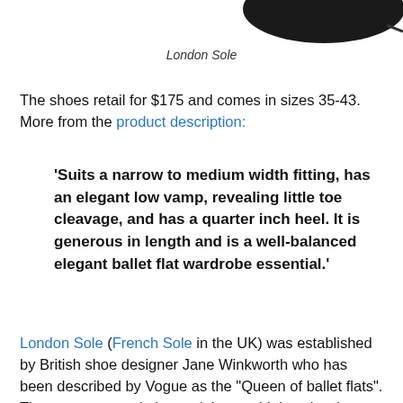[Figure (photo): Partial view of a black ballet flat shoe, cropped at the top of the page]
London Sole
The shoes retail for $175 and comes in sizes 35-43. More from the product description:
'Suits a narrow to medium width fitting, has an elegant low vamp, revealing little toe cleavage, and has a quarter inch heel. It is generous in length and is a well-balanced elegant ballet flat wardrobe essential.'
London Sole (French Sole in the UK) was established by British shoe designer Jane Winkworth who has been described by Vogue as the "Queen of ballet flats". The company made its mark by combining classic ballet flats with never before seen colours, textiles and materials. All London Sole products are handcrafted in Europe and have been worn by a number of royals and celebrities including the late